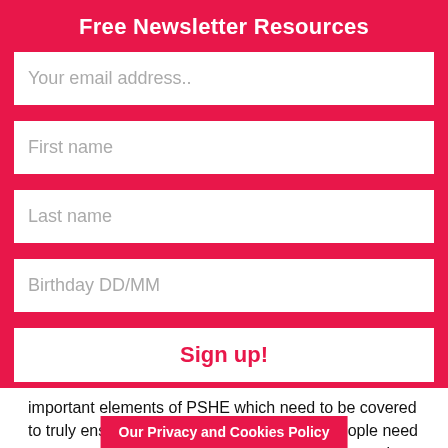Free Newsletter Resources
Your email address..
First name
Last name
Birthday DD/MM
Sign up!
important elements of PSHE which need to be covered to truly ensure children's wellbeing. Young people need support to enable them to communicate what may be troubling them and information on who is available to help our young people.
Their resources als
Our Privacy and Cookies Policy